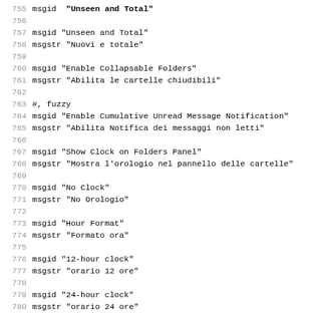755 msgid "Unseen and Total"
756
757 msgid "Unseen and Total"
758 msgstr "Nuovi e totale"
759
760 msgid "Enable Collapsable Folders"
761 msgstr "Abilita le cartelle chiudibili"
762
763 #, fuzzy
764 msgid "Enable Cumulative Unread Message Notification"
765 msgstr "Abilita Notifica dei messaggi non letti"
766
767 msgid "Show Clock on Folders Panel"
768 msgstr "Mostra l'orologio nel pannello delle cartelle"
769
770 msgid "No Clock"
771 msgstr "No Orologio"
772
773 msgid "Hour Format"
774 msgstr "Formato ora"
775
776 msgid "12-hour clock"
777 msgstr "orario 12 ore"
778
779 msgid "24-hour clock"
780 msgstr "orario 24 ore"
781
782 msgid "Memory Search"
783 msgstr "Cerca in memoria"
784
785 msgid "Disabled"
786 msgstr ""
787